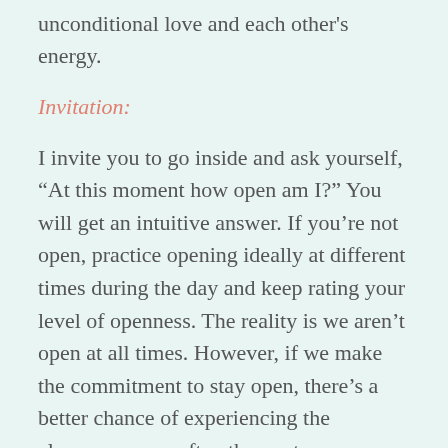unconditional love and each other's energy.
Invitation:
I invite you to go inside and ask yourself, “At this moment how open am I?” You will get an intuitive answer. If you’re not open, practice opening ideally at different times during the day and keep rating your level of openness. The reality is we aren’t open at all times. However, if we make the commitment to stay open, there’s a better chance of experiencing the closeness more often than not.
Staying in touch and in love